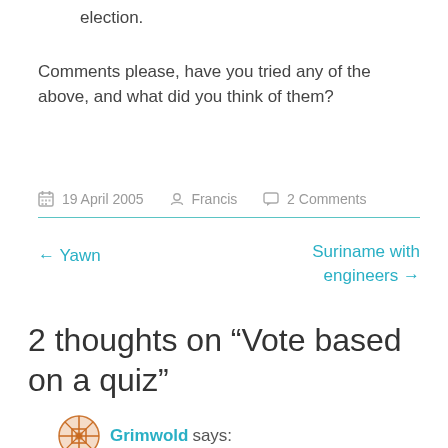election.
Comments please, have you tried any of the above, and what did you think of them?
19 April 2005   Francis   2 Comments
← Yawn
Suriname with engineers →
2 thoughts on “Vote based on a quiz”
Grimwold says: